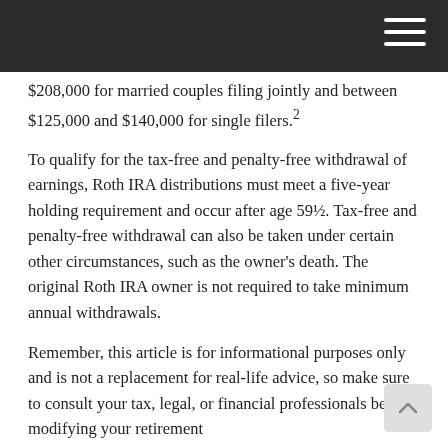$208,000 for married couples filing jointly and between $125,000 and $140,000 for single filers.²
To qualify for the tax-free and penalty-free withdrawal of earnings, Roth IRA distributions must meet a five-year holding requirement and occur after age 59½. Tax-free and penalty-free withdrawal can also be taken under certain other circumstances, such as the owner's death. The original Roth IRA owner is not required to take minimum annual withdrawals.
Remember, this article is for informational purposes only and is not a replacement for real-life advice, so make sure to consult your tax, legal, or financial professionals before modifying your retirement